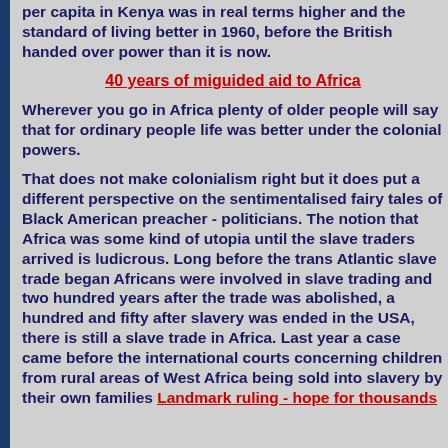per capita in Kenya was in real terms higher and the standard of living better in 1960, before the British handed over power than it is now.
40 years of miguided aid to Africa
Wherever you go in Africa plenty of older people will say that for ordinary people life was better under the colonial powers.
That does not make colonialism right but it does put a different perspective on the sentimentalised fairy tales of Black American preacher - politicians. The notion that Africa was some kind of utopia until the slave traders arrived is ludicrous. Long before the trans Atlantic slave trade began Africans were involved in slave trading and two hundred years after the trade was abolished, a hundred and fifty after slavery was ended in the USA, there is still a slave trade in Africa. Last year a case came before the international courts concerning children from rural areas of West Africa being sold into slavery by their own families Landmark ruling - hope for thousands